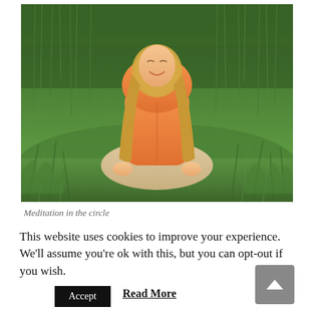[Figure (photo): A woman wearing an orange hoodie sits cross-legged in a meditation pose on green grass, with tall green grass/reeds in the background. She has long blonde hair and is smiling with eyes closed.]
Meditation in the circle
This website uses cookies to improve your experience. We'll assume you're ok with this, but you can opt-out if you wish.